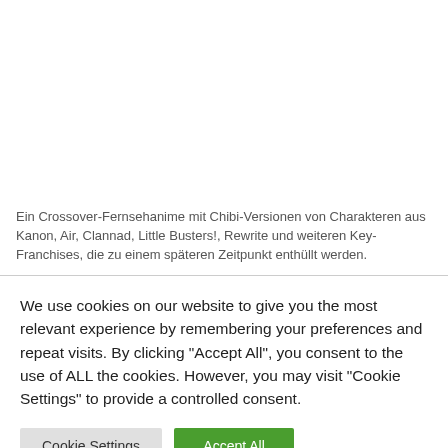Ein Crossover-Fernsehanime mit Chibi-Versionen von Charakteren aus Kanon, Air, Clannad, Little Busters!, Rewrite und weiteren Key-Franchises, die zu einem späteren Zeitpunkt enthüllt werden.
We use cookies on our website to give you the most relevant experience by remembering your preferences and repeat visits. By clicking "Accept All", you consent to the use of ALL the cookies. However, you may visit "Cookie Settings" to provide a controlled consent.